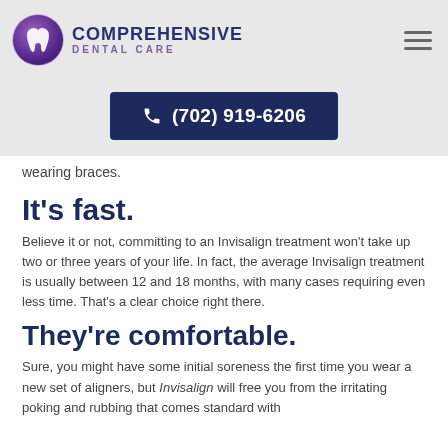[Figure (logo): Comprehensive Dental Care logo with circular purple tooth/dental icon and company name]
(702) 919-6206
wearing braces.
It’s fast.
Believe it or not, committing to an Invisalign treatment won’t take up two or three years of your life. In fact, the average Invisalign treatment is usually between 12 and 18 months, with many cases requiring even less time. That’s a clear choice right there.
They’re comfortable.
Sure, you might have some initial soreness the first time you wear a new set of aligners, but Invisalign will free you from the irritating poking and rubbing that comes standard with